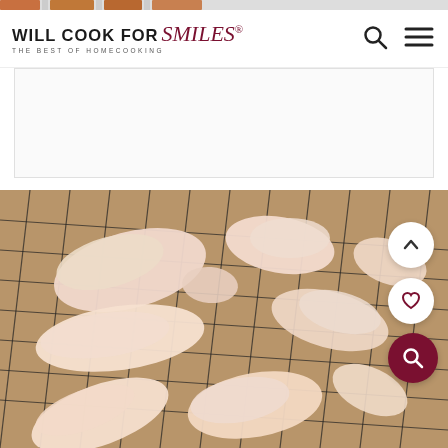[Figure (screenshot): Navigation strip at top with food thumbnail images]
WILL COOK FOR Smiles® THE BEST OF HOMECOOKING
[Figure (photo): Raw chicken wings laid out on a wire rack over a baking sheet, ready to be seasoned and cooked. Three floating action buttons visible: up arrow, heart/save, and search.]